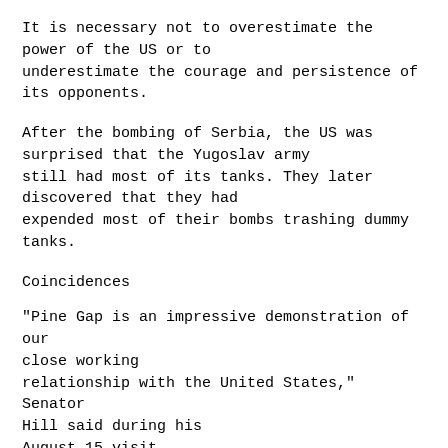It is necessary not to overestimate the power of the US or to underestimate the courage and persistence of its opponents.
After the bombing of Serbia, the US was surprised that the Yugoslav army still had most of its tanks. They later discovered that they had expended most of their bombs trashing dummy tanks.
Coincidences
"Pine Gap is an impressive demonstration of our close working relationship with the United States," Senator Hill said during his August 15 visit.
It is no coincidence that he decided to visit Pine Gap just as the Bush